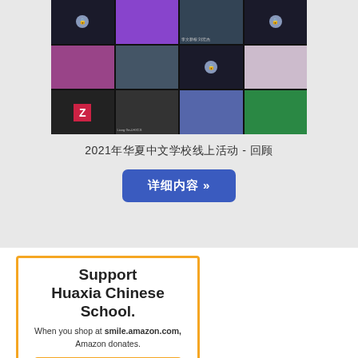[Figure (screenshot): Video conference grid showing multiple participants in a Chinese school online event, with labels including '李文新根 刘宏杰' and 'Liang Ge-LHXCS']
2021年华夏中文学校线上活动 - 回顾
详细内容 »
Support Huaxia Chinese School.
When you shop at smile.amazon.com, Amazon donates.